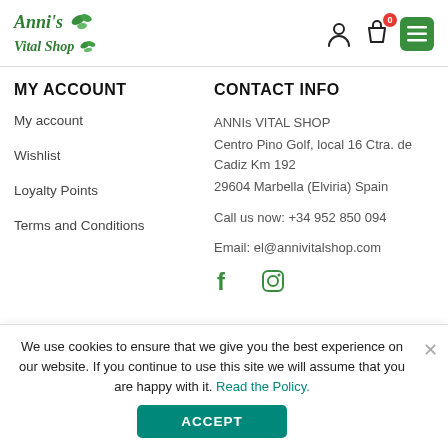Anni's Vital Shop [logo with leaf icons, user icon, bag icon with badge 0, menu button]
MY ACCOUNT
My account
Wishlist
Loyalty Points
Terms and Conditions
CONTACT INFO
ANNIs VITAL SHOP
Centro Pino Golf, local 16 Ctra. de Cadiz Km 192
29604 Marbella (Elviria) Spain

Call us now: +34 952 850 094

Email: el@annivitalshop.com
[Figure (illustration): Facebook and Instagram social media icons in green]
We use cookies to ensure that we give you the best experience on our website. If you continue to use this site we will assume that you are happy with it. Read the Policy.
ACCEPT